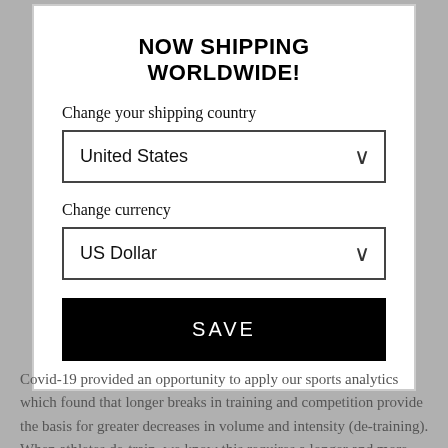NOW SHIPPING WORLDWIDE!
Change your shipping country
United States
Change currency
US Dollar
SAVE
Covid-19 provided an opportunity to apply our sports analytics which found that longer breaks in training and competition provide the basis for greater decreases in volume and intensity (de-training). When athletes de-train, we know this requires a longer and more passive return to full training and competition. However, this time is not now available to players, support staff and coaches alike to complete their preparation to fulfil the